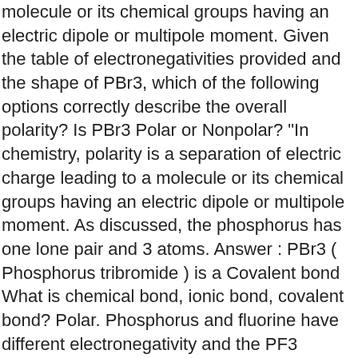molecule or its chemical groups having an electric dipole or multipole moment. Given the table of electronegativities provided and the shape of PBr3, which of the following options correctly describe the overall polarity? Is PBr3 Polar or Nonpolar? "In chemistry, polarity is a separation of electric charge leading to a molecule or its chemical groups having an electric dipole or multipole moment. As discussed, the phosphorus has one lone pair and 3 atoms. Answer : PBr3 ( Phosphorus tribromide ) is a Covalent bond What is chemical bond, ionic bond, covalent bond? Polar. Phosphorus and fluorine have different electronegativity and the PF3 molecule also contains a lone pair. 1-butanol. 180 c. 90 d. 109 e. 55 In PBr3 the sharing is not equal and there is a net dipole. 1. Problem: If PBr3Cl2 is a nonpolar molecule, determine the Cl-P-Br bond angle? PBr 3 It is polar because its shape is trigonal